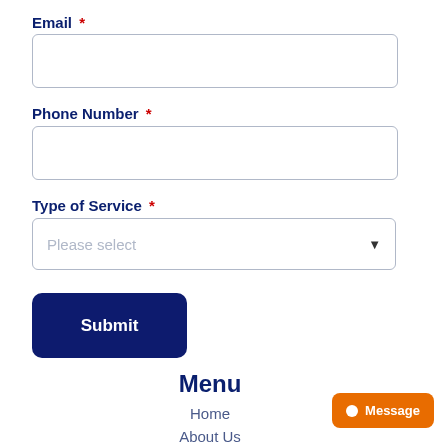Email *
Phone Number *
Type of Service *
Please select
Submit
Menu
Home
About Us
Message